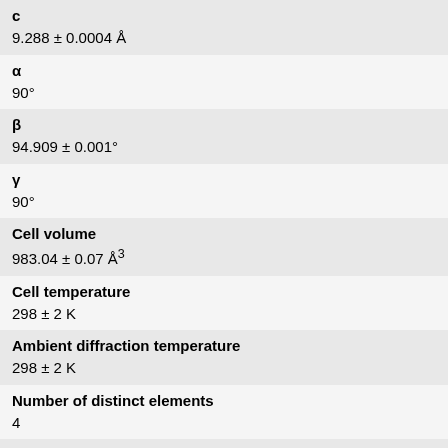| Property | Value |
| --- | --- |
| c | 9.288 ± 0.0004 Å |
| α | 90° |
| β | 94.909 ± 0.001° |
| γ | 90° |
| Cell volume | 983.04 ± 0.07 Å³ |
| Cell temperature | 298 ± 2 K |
| Ambient diffraction temperature | 298 ± 2 K |
| Number of distinct elements | 4 |
| Hermann-Mauguin symmetry space group | P 1 21/n 1 |
| Hall symmetry space group | -P 2yn |
| Residual factor for all reflections |  |